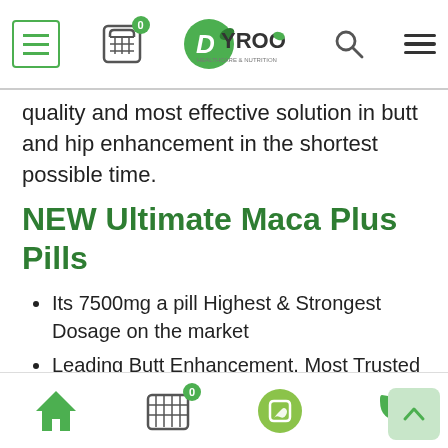[Figure (screenshot): Website navigation bar with hamburger menu, cart icon with badge showing 0, Dyroo Healthcare & Nutrition logo, search icon, and three-line menu icon]
quality and most effective solution in butt and hip enhancement in the shortest possible time.
NEW Ultimate Maca Plus Pills
Its 7500mg a pill Highest & Strongest Dosage on the market
Leading Butt Enhancement, Most Trusted Brand 4 years in a Row
Its 3 in 1, Maca Root, Black Maca, Aguaje in 1 Pill
100% certified organic
2500% More Extract
[Figure (screenshot): Bottom navigation bar with home icon, cart icon with badge 0, WhatsApp icon, phone icon, and scroll-to-top button]